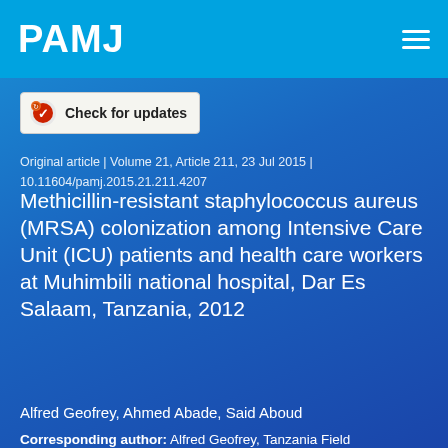PAMJ
[Figure (logo): Check for updates badge button with circular icon on grey/white background]
Original article | Volume 21, Article 211, 23 Jul 2015 | 10.11604/pamj.2015.21.211.4207
Methicillin-resistant staphylococcus aureus (MRSA) colonization among Intensive Care Unit (ICU) patients and health care workers at Muhimbili national hospital, Dar Es Salaam, Tanzania, 2012
Alfred Geofrey, Ahmed Abade, Said Aboud
Corresponding author: Alfred Geofrey, Tanzania Field Epidemiology and Laboratory Training Program, Dar Es Salaam, Tanzania